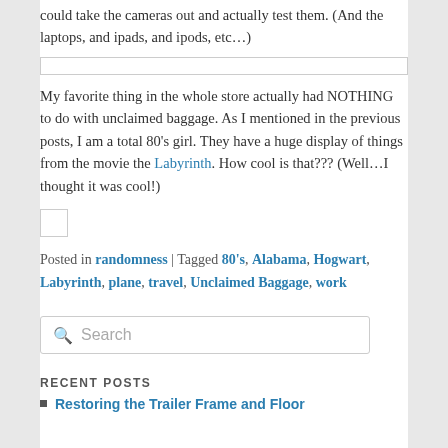could take the cameras out and actually test them. (And the laptops, and ipads, and ipods, etc…)
[Figure (other): Wide horizontal image placeholder (thin border box)]
My favorite thing in the whole store actually had NOTHING to do with unclaimed baggage. As I mentioned in the previous posts, I am a total 80's girl. They have a huge display of things from the movie the Labyrinth. How cool is that??? (Well…I thought it was cool!)
[Figure (other): Small square image placeholder]
Posted in randomness | Tagged 80's, Alabama, Hogwart, Labyrinth, plane, travel, Unclaimed Baggage, work
Search
RECENT POSTS
Restoring the Trailer Frame and Floor